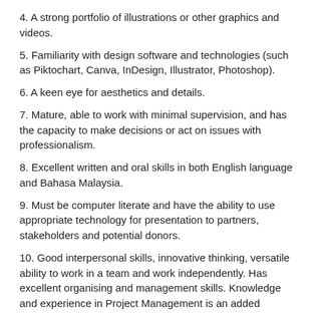4. A strong portfolio of illustrations or other graphics and videos.
5. Familiarity with design software and technologies (such as Piktochart, Canva, InDesign, Illustrator, Photoshop).
6. A keen eye for aesthetics and details.
7. Mature, able to work with minimal supervision, and has the capacity to make decisions or act on issues with professionalism.
8. Excellent written and oral skills in both English language and Bahasa Malaysia.
9. Must be computer literate and have the ability to use appropriate technology for presentation to partners, stakeholders and potential donors.
10. Good interpersonal skills, innovative thinking, versatile ability to work in a team and work independently. Has excellent organising and management skills. Knowledge and experience in Project Management is an added advantage.